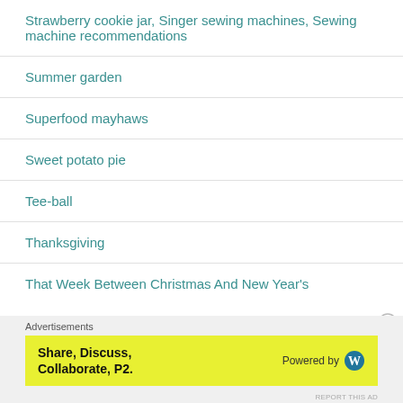Strawberry cookie jar, Singer sewing machines, Sewing machine recommendations
Summer garden
Superfood mayhaws
Sweet potato pie
Tee-ball
Thanksgiving
That Week Between Christmas And New Year's
Advertisements
[Figure (infographic): Yellow advertisement banner: 'Share, Discuss, Collaborate, P2.' with 'Powered by WordPress' logo on the right.]